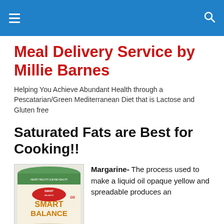≡  🔍
Meal Delivery Service by Millie Barnes
Helping You Achieve Abundant Health through a Pescatarian/Green Mediterranean Diet that is Lactose and Gluten free
Saturated Fats are Best for Cooking!!
[Figure (photo): Smart Balance margarine tub product photo]
Margarine-  The process used to make a liquid oil opaque yellow and spreadable produces an